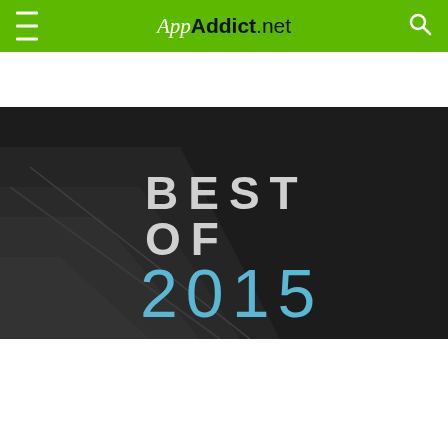AppAddict.net
[Figure (illustration): Best of 2015 promotional banner image on dark background with diagonal geometric shapes. Text reads BEST OF in white/gray letters and 2015 in light blue letters.]